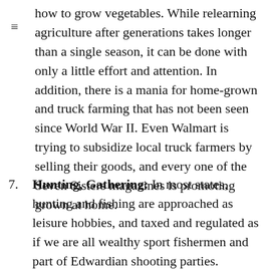how to grow vegetables. While relearning agriculture after generations takes longer than a single season, it can be done with only a little effort and attention. In addition, there is a mania for home-grown and truck farming that has not been seen since World War II. Even Walmart is trying to subsidize local truck farmers by selling their goods, and every one of the Seven Sisters magazines is promoting grown at home.
7. Hunting, Gathering: In most states, hunting and fishing are approached as leisure hobbies, and taxed and regulated as if we are all wealthy sport fishermen and part of Edwardian shooting parties. Instead, state governments would do